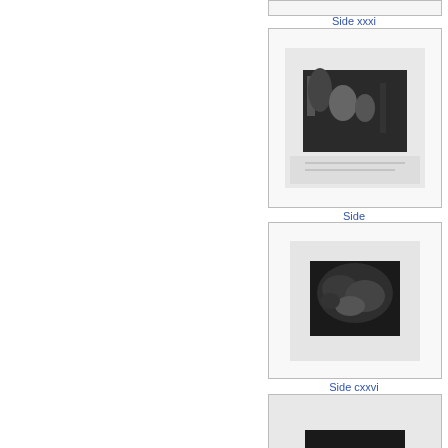[Figure (illustration): Thumbnail of a book page with an etching showing figures in a classical scene, labeled Side xxxi]
Side xxxi
[Figure (illustration): Thumbnail of a book page with a dark dramatic etching, labeled Side]
Side
Side cxxvi
[Figure (illustration): Partially visible thumbnail at bottom, labeled Side cxxvi]